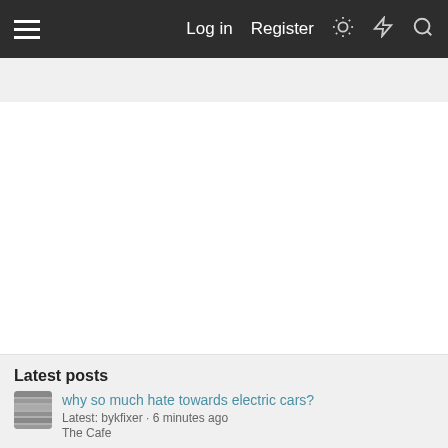Log in | Register
Share:
Latest posts
why so much hate towards electric cars? Latest: bykfixer · 6 minutes ago The Cafe